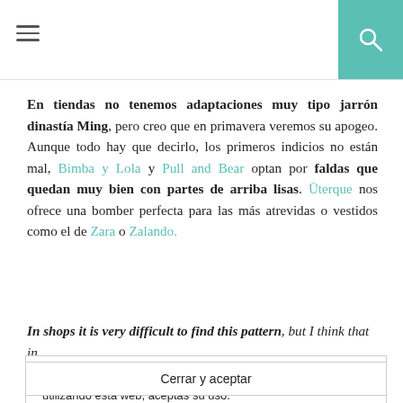Navigation menu and search button
En tiendas no tenemos adaptaciones muy tipo jarrón dinastía Ming, pero creo que en primavera veremos su apogeo. Aunque todo hay que decirlo, los primeros indicios no están mal, Bimba y Lola y Pull and Bear optan por faldas que quedan muy bien con partes de arriba lisas. Üterque nos ofrece una bomber perfecta para las más atrevidas o vestidos como el de Zara o Zalando.
In shops it is very difficult to find this pattern, but I think that in
Privacidad y cookies: este sitio utiliza cookies. Al continuar utilizando esta web, aceptas su uso.
Para obtener más información, incluido cómo controlar las cookies, consulta aquí: Política de cookies
Cerrar y aceptar